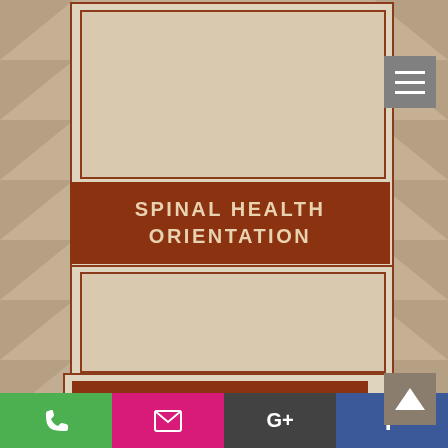[Figure (screenshot): Mobile website screenshot showing a chiropractic/spinal health clinic webpage with decorative triangle background pattern in tan/beige tones]
SPINAL HEALTH ORIENTATION
OUR LOCATION
[Figure (map): Map preview showing clinic location]
[Figure (infographic): Bottom social media bar with phone (green), email (pink), Google+ (dark gray), and Facebook (blue) buttons]